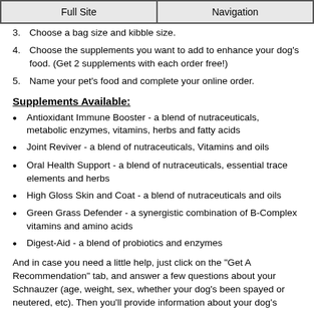Full Site | Navigation
3. Choose a bag size and kibble size.
4. Choose the supplements you want to add to enhance your dog's food. (Get 2 supplements with each order free!)
5. Name your pet's food and complete your online order.
Supplements Available:
Antioxidant Immune Booster - a blend of nutraceuticals, metabolic enzymes, vitamins, herbs and fatty acids
Joint Reviver - a blend of nutraceuticals, Vitamins and oils
Oral Health Support - a blend of nutraceuticals, essential trace elements and herbs
High Gloss Skin and Coat - a blend of nutraceuticals and oils
Green Grass Defender - a synergistic combination of B-Complex vitamins and amino acids
Digest-Aid - a blend of probiotics and enzymes
And in case you need a little help, just click on the "Get A Recommendation" tab, and answer a few questions about your Schnauzer (age, weight, sex, whether your dog's been spayed or neutered, etc). Then you'll provide information about your dog's activity level along with any allergies or other health concerns of your